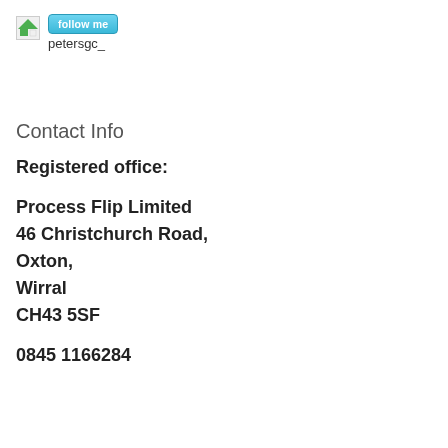[Figure (logo): Small avatar icon with a 'follow me' button and username 'petersgc_']
Contact Info
Registered office:
Process Flip Limited
46 Christchurch Road,
Oxton,
Wirral
CH43 5SF
0845 1166284